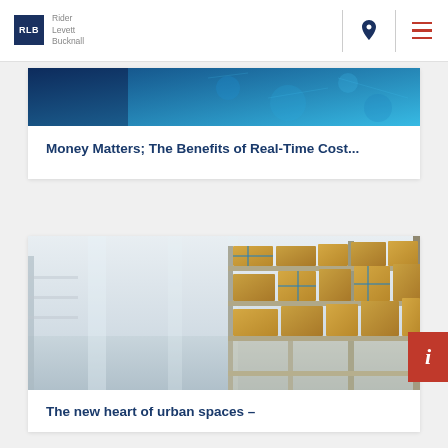RLB Rider Levett Bucknall
[Figure (photo): Abstract blue digital technology background image for article card]
Money Matters; The Benefits of Real-Time Cost...
[Figure (photo): Warehouse interior with shelving racks stacked with cardboard boxes]
The new heart of urban spaces –